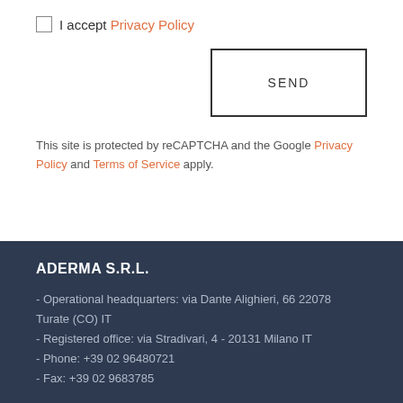I accept Privacy Policy
SEND
This site is protected by reCAPTCHA and the Google Privacy Policy and Terms of Service apply.
ADERMA S.R.L.
- Operational headquarters: via Dante Alighieri, 66 22078 Turate (CO) IT
- Registered office: via Stradivari, 4 - 20131 Milano IT
- Phone: +39 02 96480721
- Fax: +39 02 9683785